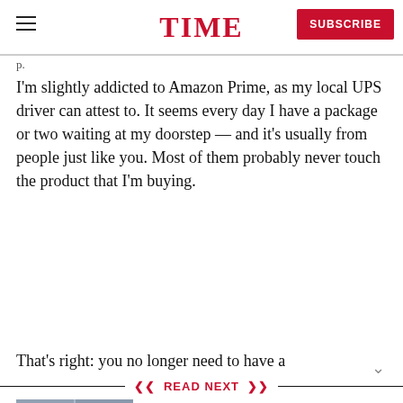TIME | SUBSCRIBE
I’m slightly addicted to Amazon Prime, as my local UPS driver can attest to. It seems every day I have a package or two waiting at my doorstep — and it’s usually from people just like you. Most of them probably never touch the product that I’m buying.
That’s right: you no longer need to have a
READ NEXT
[Figure (photo): Person standing with arms raised in front of large floor-to-ceiling windows with city skyline view]
4 Habits That Will Make You Feel More Confident